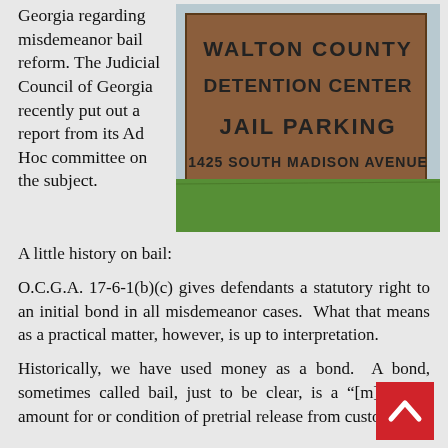Georgia regarding misdemeanor bail reform. The Judicial Council of Georgia recently put out a report from its Ad Hoc committee on the subject.
[Figure (photo): Walton County Detention Center Jail Parking sign at 1425 South Madison Avenue, mounted on a brown brick or wooden sign with green grass in the background.]
A little history on bail:
O.C.G.A. 17-6-1(b)(c) gives defendants a statutory right to an initial bond in all misdemeanor cases.  What that means as a practical matter, however, is up to interpretation.
Historically, we have used money as a bond.  A bond, sometimes called bail, just to be clear, is a “[m]onetary amount for or condition of pretrial release from custody